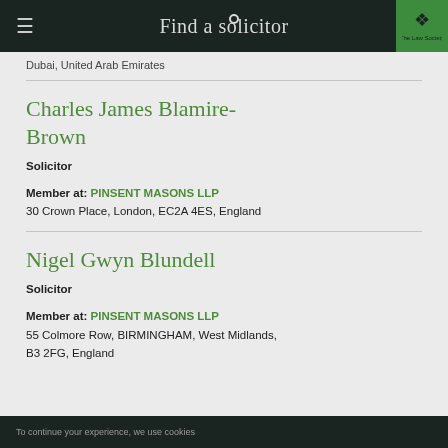Find a solicitor
Dubai, United Arab Emirates
Charles James Blamire-Brown
Solicitor
Member at: PINSENT MASONS LLP
30 Crown Place, London, EC2A 4ES, England
Nigel Gwyn Blundell
Solicitor
Member at: PINSENT MASONS LLP
55 Colmore Row, BIRMINGHAM, West Midlands, B3 2FG, England
To continue your experience, we use cookies